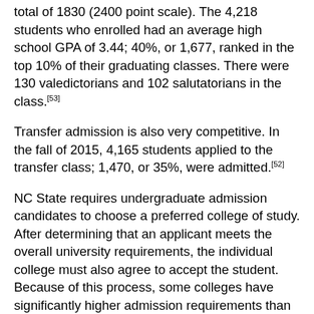total of 1830 (2400 point scale). The 4,218 students who enrolled had an average high school GPA of 3.44; 40%, or 1,677, ranked in the top 10% of their graduating classes. There were 130 valedictorians and 102 salutatorians in the class.[53]
Transfer admission is also very competitive. In the fall of 2015, 4,165 students applied to the transfer class; 1,470, or 35%, were admitted.[52]
NC State requires undergraduate admission candidates to choose a preferred college of study. After determining that an applicant meets the overall university requirements, the individual college must also agree to accept the student. Because of this process, some colleges have significantly higher admission requirements than